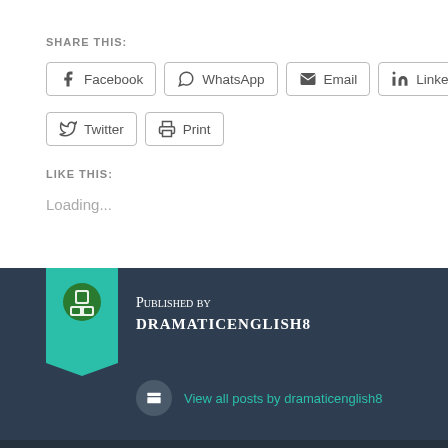SHARE THIS:
Facebook  WhatsApp  Email  LinkedIn  Twitter  Print
LIKE THIS:
Loading...
Published by dramaticenglish8
View all posts by dramaticenglish8